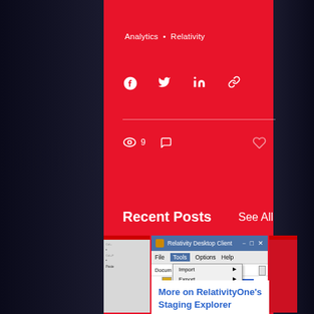Analytics • Relativity
[Figure (screenshot): Social share icons: Facebook, Twitter, LinkedIn, Link]
9
Recent Posts
See All
[Figure (screenshot): Relativity Desktop Client window showing Tools menu open with Import, Export, Staging Explorer... options. Status bar shows: Workspace Loaded - File Transfer Mode: Acc]
More on RelativityOne's Staging Explorer